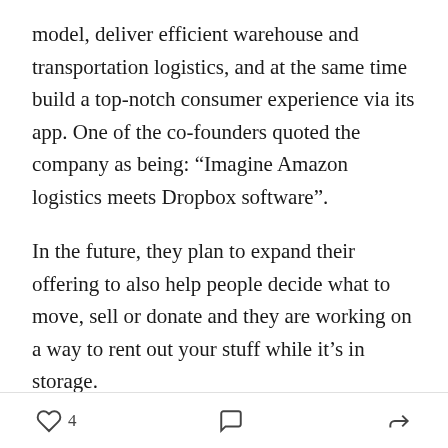model, deliver efficient warehouse and transportation logistics, and at the same time build a top-notch consumer experience via its app. One of the co-founders quoted the company as being: “Imagine Amazon logistics meets Dropbox software”.
In the future, they plan to expand their offering to also help people decide what to move, sell or donate and they are working on a way to rent out your stuff while it’s in storage.
□ Who?
The company was founded in 2013 by Ari Mir and Brian Thomas. Working the first 100 jobs themselves
4